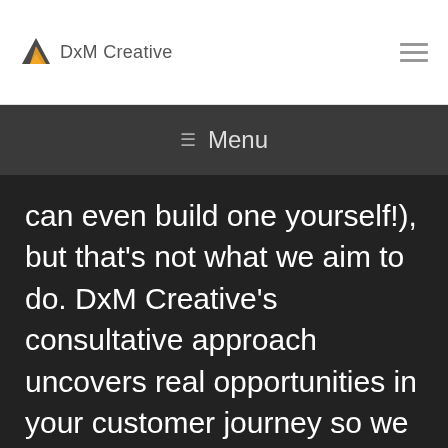DxM Creative
☰ Menu
can even build one yourself!), but that's not what we aim to do. DxM Creative's consultative approach uncovers real opportunities in your customer journey so we can provide value through a holistic suite of digital marketing solutions.